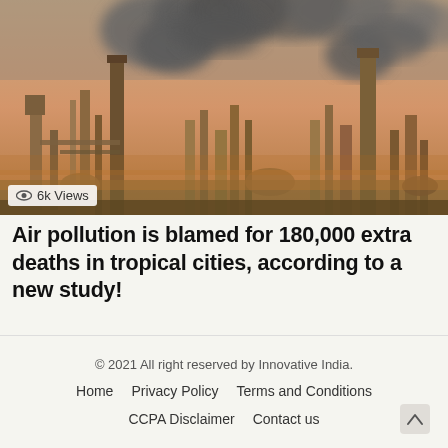[Figure (photo): Industrial factory with large smoke stacks billowing thick dark smoke against an orange sunset sky, with complex industrial equipment and structures visible.]
6k Views
Air pollution is blamed for 180,000 extra deaths in tropical cities, according to a new study!
© 2021 All right reserved by Innovative India.
Home    Privacy Policy    Terms and Conditions
CCPA Disclaimer    Contact us